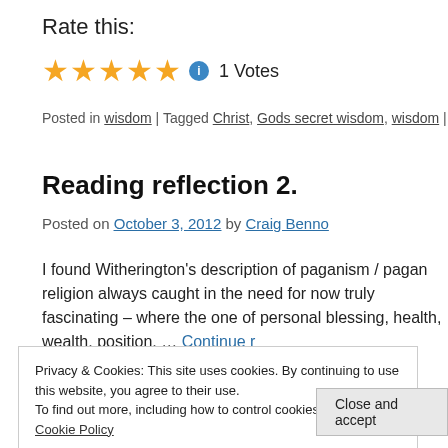Rate this:
[Figure (other): Five gold star rating with info icon and '1 Votes' label]
Posted in wisdom | Tagged Christ, Gods secret wisdom, wisdom | 1 Comment
Reading reflection 2.
Posted on October 3, 2012 by Craig Benno
I found Witherington's description of paganism / pagan religion always caught in the need for now truly fascinating – where the one of personal blessing, health, wealth, position, … Continue r
Privacy & Cookies: This site uses cookies. By continuing to use this website, you agree to their use.
To find out more, including how to control cookies, see here: Cookie Policy
Close and accept